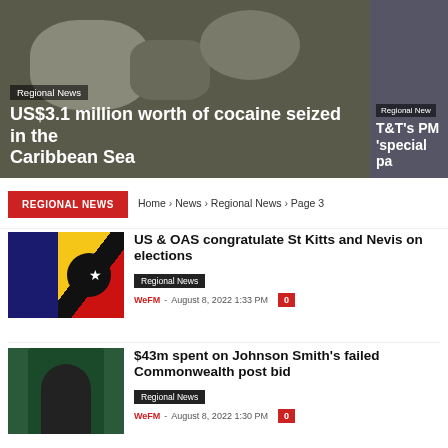[Figure (photo): Hero image showing seized goods/cocaine bags on boat deck in Caribbean Sea]
US$3.1 million worth of cocaine seized in the Caribbean Sea
[Figure (photo): Partial hero image on right side showing T&T's PM with 'special pa...' caption]
REGIONAL NEWS
Home › News › Regional News › Page 3
[Figure (photo): US flag and St Kitts and Nevis flag side by side]
US & OAS congratulate St Kitts and Nevis on elections
Regional News
WeFM - August 8, 2022 1:33 PM
[Figure (photo): Woman in business attire seated in parliamentary chamber]
$43m spent on Johnson Smith's failed Commonwealth post bid
Regional News
WeFM - August 8, 2022 1:30 PM